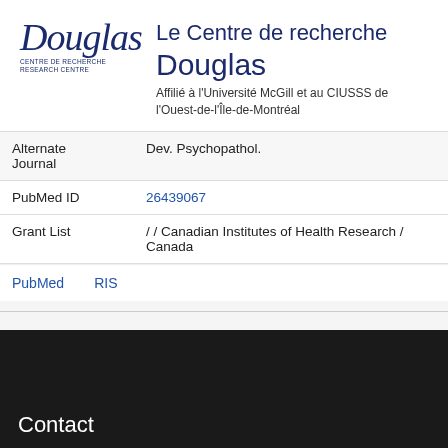[Figure (logo): Douglas Research Centre logo with italic script 'Douglas' text and subtitle text 'CENTRE DE RECHERCHE RESEARCH CENTRE']
Le Centre de recherche Douglas
Affilié à l'Université McGill et au CIUSSS de l'Ouest-de-l'Île-de-Montréal
| Alternate Journal | Dev. Psychopathol. |
| PubMed ID | 26439067 |
| Grant List | / / Canadian Institutes of Health Research / Canada |
PubMed    RIS
Contact